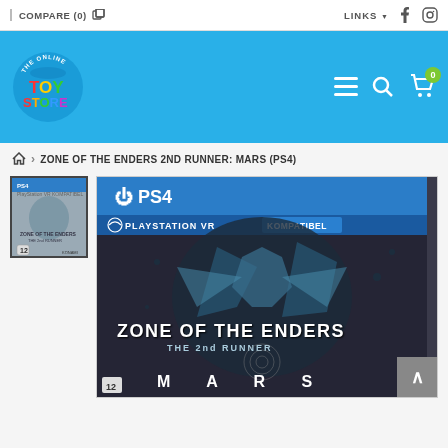COMPARE (0)  |  LINKS  f  [instagram]
[Figure (logo): The Online Toy Store logo — colorful circular logo with toy imagery]
ZONE OF THE ENDERS 2ND RUNNER: MARS (PS4)
[Figure (photo): Thumbnail of Zone of the Enders 2nd Runner Mars PS4 game cover]
[Figure (photo): Main large image of Zone of the Enders The 2nd Runner Mars PS4 game cover with PS4 and PlayStation VR Kompatibel branding]